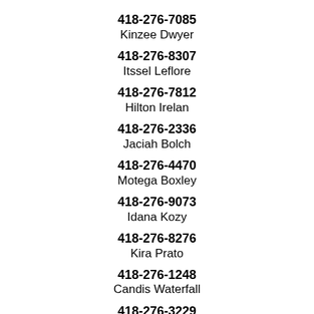418-276-7085
Kinzee Dwyer
418-276-8307
Itssel Leflore
418-276-7812
Hilton Irelan
418-276-2336
Jaciah Bolch
418-276-4470
Motega Boxley
418-276-9073
Idana Kozy
418-276-8276
Kira Prato
418-276-1248
Candis Waterfall
418-276-3229